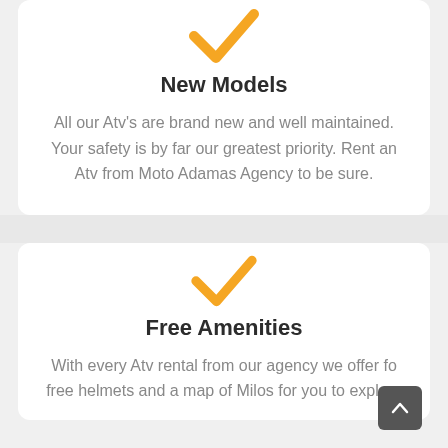[Figure (illustration): Orange checkmark icon]
New Models
All our Atv's are brand new and well maintained. Your safety is by far our greatest priority. Rent an Atv from Moto Adamas Agency to be sure.
[Figure (illustration): Orange checkmark icon]
Free Amenities
With every Atv rental from our agency we offer for free helmets and a map of Milos for you to explore